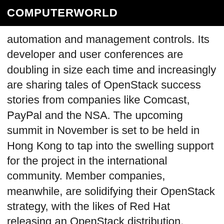COMPUTERWORLD
automation and management controls. Its developer and user conferences are doubling in size each time and increasingly are sharing tales of OpenStack success stories from companies like Comcast, PayPal and the NSA. The upcoming summit in November is set to be held in Hong Kong to tap into the swelling support for the project in the international community. Member companies, meanwhile, are solidifying their OpenStack strategy, with the likes of Red Hat releasing an OpenStack distribution, Rackspace running an entire public cloud offering on the platform and IBM and HP committed to developing and supporting the project.